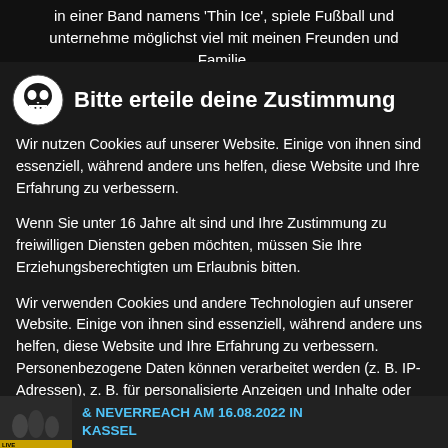in einer Band namens 'Thin Ice', spiele Fußball und unternehme möglichst viel mit meinen Freunden und Familie.
Bitte erteile deine Zustimmung
Wir nutzen Cookies auf unserer Website. Einige von ihnen sind essenziell, während andere uns helfen, diese Website und Ihre Erfahrung zu verbessern.
Wenn Sie unter 16 Jahre alt sind und Ihre Zustimmung zu freiwilligen Diensten geben möchten, müssen Sie Ihre Erziehungsberechtigten um Erlaubnis bitten.
Wir verwenden Cookies und andere Technologien auf unserer Website. Einige von ihnen sind essenziell, während andere uns helfen, diese Website und Ihre Erfahrung zu verbessern. Personenbezogene Daten können verarbeitet werden (z. B. IP-Adressen), z. B. für personalisierte Anzeigen und Inhalte oder Anzeigen- und Inhaltsmessung. Weitere Informationen über die Verwendung Ihrer Daten finden Sie in unserer Datenschutzerklärung. Sie können Ihre Auswahl jederzeit unter Einstellungen...
& NEVERREACH AM 16.08.2022 IN KASSEL